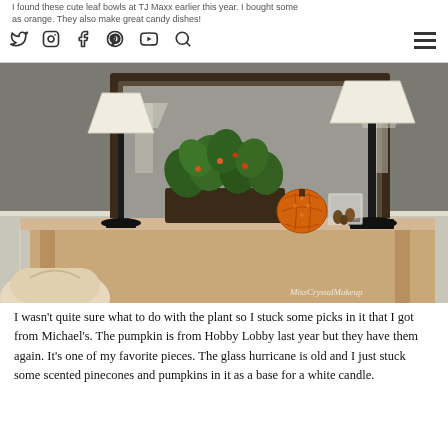I found these cute leaf bowls at TJ Maxx earlier this year. I bought some as orange. They also make great candy dishes!
[Figure (photo): Interior home decor photo showing a sideboard/console table against a gray wall with wainscoting. Two black table lamps with white shades flank a large ornate brown-framed mirror. In the center of the table is a dark wicker basket planter with green leafy plants and small orange berry picks. A decorative orange latticed pumpkin sits on the table surface, along with a glass hurricane vase filled with pinecones and small pumpkins near the right lamp. A white ornate chair is partially visible at lower left. Watermark reads MissCrystalMakeup.]
I wasn't quite sure what to do with the plant so I stuck some picks in it that I got from Michael's. The pumpkin is from Hobby Lobby last year but they have them again. It's one of my favorite pieces. The glass hurricane is old and I just stuck some scented pinecones and pumpkins in it as a base for a white candle.